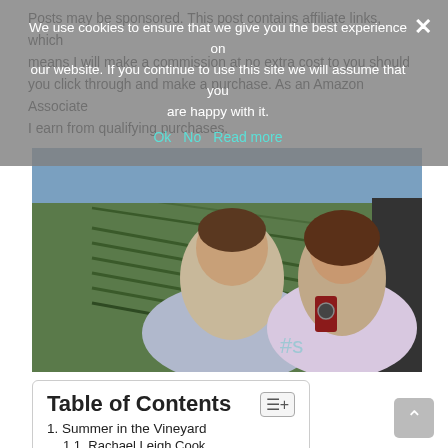Posts may be sponsored. This post contains affiliate links, which means I will make a commission at no extra cost to you should you click through and make a purchase. As an Amazon Associate I earn from qualifying purchases.
We use cookies to ensure that we give you the best experience on our website. If you continue to use this site we will assume that you are happy with it. Ok  No  Read more
[Figure (photo): A man and a woman smiling outdoors at a vineyard. The woman is holding a smartphone. There are rows of grapevines visible in the background.]
Table of Contents
1. Summer in the Vineyard
1.1. Rachael Leigh Cook